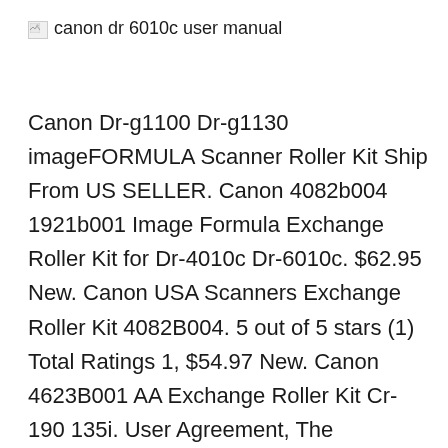[Figure (other): Broken image icon placeholder for canon dr 6010c user manual]
canon dr 6010c user manual
Canon Dr-g1100 Dr-g1130 imageFORMULA Scanner Roller Kit Ship From US SELLER. Canon 4082b004 1921b001 Image Formula Exchange Roller Kit for Dr-4010c Dr-6010c. $62.95 New. Canon USA Scanners Exchange Roller Kit 4082B004. 5 out of 5 stars (1) Total Ratings 1, $54.97 New. Canon 4623B001 AA Exchange Roller Kit Cr-190 135i. User Agreement, The imageFORMULA DR-6010C document scanner delivers high-speed, reliable document handling and high-quality images in a small package. Flexibility, feature rich, and ease-of-use help maximize return on investment at all levels of